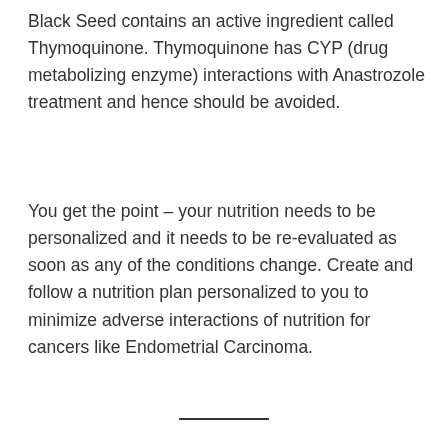Black Seed contains an active ingredient called Thymoquinone. Thymoquinone has CYP (drug metabolizing enzyme) interactions with Anastrozole treatment and hence should be avoided.
You get the point – your nutrition needs to be personalized and it needs to be re-evaluated as soon as any of the conditions change. Create and follow a nutrition plan personalized to you to minimize adverse interactions of nutrition for cancers like Endometrial Carcinoma.